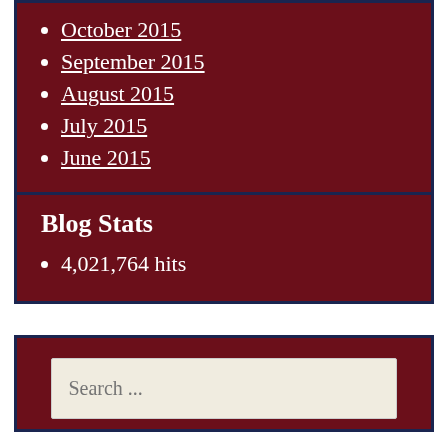October 2015
September 2015
August 2015
July 2015
June 2015
Blog Stats
4,021,764 hits
Search ...